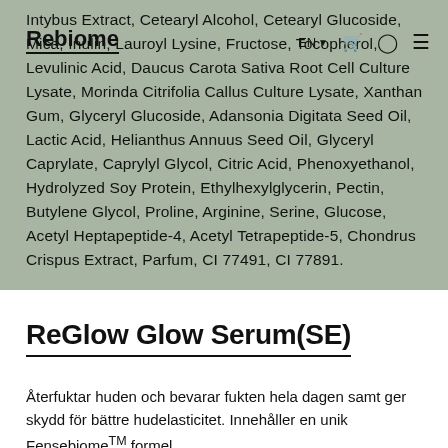Rebiome  EN  [cart] [user] [menu]
Intybus Extract, Cetearyl Alcohol, Cetearyl Glucoside, Mica, Inulin, Lauroyl Lysine, Fructose, Tocopherol, Levulinic Acid, Daucus Carota Sativa Root Cell Culture Lysate, Morinda Citrifolia Callus Culture Lysate, Xanthan Gum, Glyceryl Glucoside, Adansonia Digitata Seed Oil, Lactic Acid, Helianthus Annuus Seed Oil, Glyceryl Caprylate, Caprylyl Glycol, Citric Acid, Phenoxyethanol, Hydrolyzed Soy Protein, Ethylhexylglycerin, Pectin, Butylene Glycol, Proline, Arginine, Serine, Glucose, Acetyl Heptapeptide-4, Acetyl Tetrapeptide-5, Chondrus Crispus Extract, Parfum, CI 77491, CI 77891.
ReGlow Glow Serum(SE)
Återfuktar huden och bevarar fukten hela dagen samt ger skydd för bättre hudelasticitet. Innehåller en unik Fensebiome™ formel